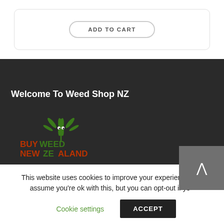ADD TO CART
Welcome To Weed Shop NZ
[Figure (logo): Buy Weed New Zealand logo with cannabis leaf graphic in green and orange/red text]
This website uses cookies to improve your experience and assume you're ok with this, but you can opt-out if you
Cookie settings
ACCEPT